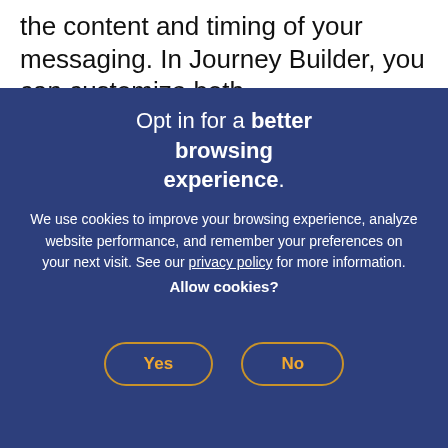the content and timing of your messaging. In Journey Builder, you can customize both
Opt in for a better browsing experience.
We use cookies to improve your browsing experience, analyze website performance, and remember your preferences on your next visit. See our privacy policy for more information. Allow cookies?
Yes
No